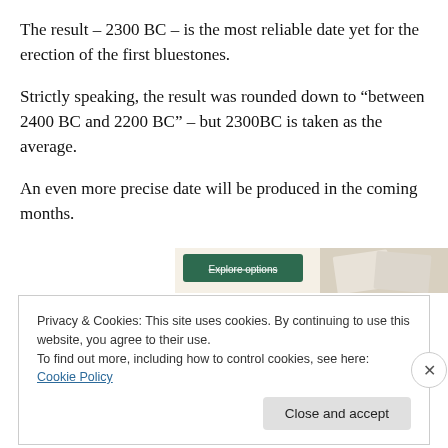The result – 2300 BC – is the most reliable date yet for the erection of the first bluestones.
Strictly speaking, the result was rounded down to "between 2400 BC and 2200 BC" – but 2300BC is taken as the average.
An even more precise date will be produced in the coming months.
[Figure (screenshot): Partial view of a website advertisement banner showing a green 'Explore options' button and food/recipe imagery on a cream background]
Privacy & Cookies: This site uses cookies. By continuing to use this website, you agree to their use.
To find out more, including how to control cookies, see here: Cookie Policy